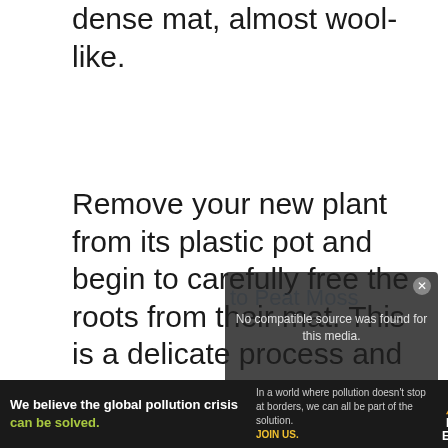dense mat, almost wool-like.
Remove your new plant from its plastic pot and begin to carefully free the roots from their mat. This is a delicate process and will take time if you want to keep from damaging the roots. Using your aquarium tweezers can help.
[Figure (screenshot): Video player overlay showing 'No compatible source was found for this media.' error message with close button, overlapping partially visible watermark text 'to Peat Moss']
You'll be planting in clumps of just
[Figure (infographic): Advertisement banner for Pure Earth: 'We believe the global pollution crisis can be solved.' with Pure Earth logo and text 'In a world where pollution doesn't stop at borders, we can all be part of the solution. JOIN US.']